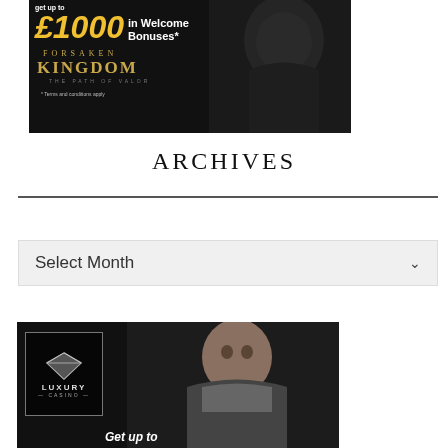[Figure (illustration): Dark promotional banner for Forsaken Kingdom game showing knight figure, yellow £1000 text, 'in Welcome Bonuses*' text, 'FORSAKEN KINGDOM THE PATH OF VALOR' title, and '* Terms and conditions apply' footnote]
ARCHIVES
Select Month
[Figure (illustration): Dark promotional banner for Luxury Casino showing man in armor, Luxury Casino diamond logo in top-left corner, and 'Get up to' text at bottom]